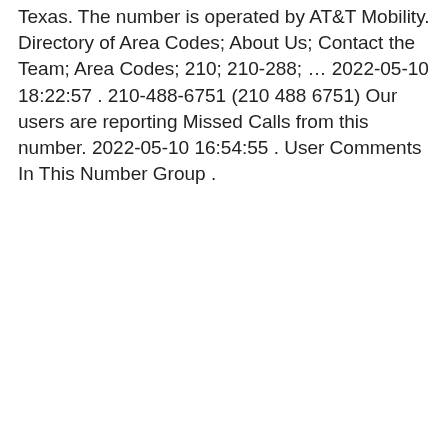Texas. The number is operated by AT&T Mobility. Directory of Area Codes; About Us; Contact the Team; Area Codes; 210; 210-288; … 2022-05-10 18:22:57 . 210-488-6751 (210 488 6751) Our users are reporting Missed Calls from this number. 2022-05-10 16:54:55 . User Comments In This Number Group .